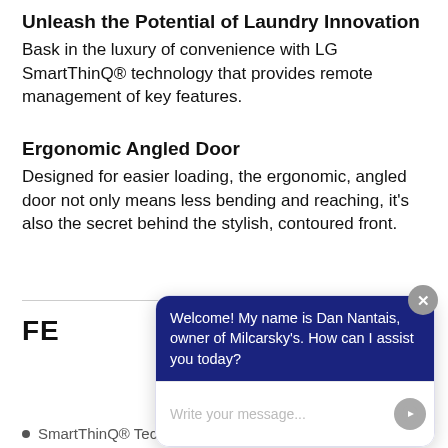Unleash the Potential of Laundry Innovation
Bask in the luxury of convenience with LG SmartThinQ® technology that provides remote management of key features.
Ergonomic Angled Door
Designed for easier loading, the ergonomic, angled door not only means less bending and reaching, it's also the secret behind the stylish, contoured front.
[Figure (screenshot): Chat widget overlay showing a welcome message from Dan Nantais, owner of Milcarsky's, with a message input field.]
FE
SmartThinQ® Technology